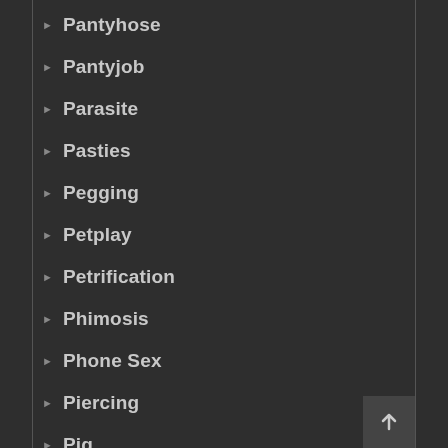Pantyhose
Pantyjob
Parasite
Pasties
Pegging
Petplay
Petrification
Phimosis
Phone Sex
Piercing
Pig
Pig Girl
Pig Man